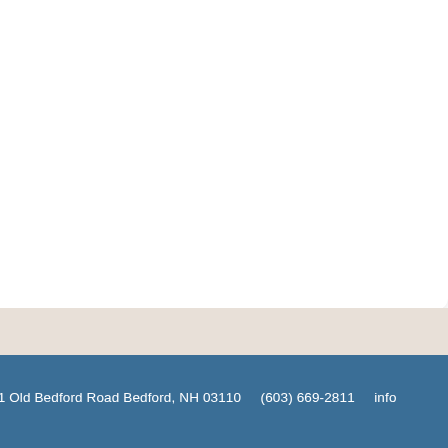51 Old Bedford Road Bedford, NH 03110    (603) 669-2811    info